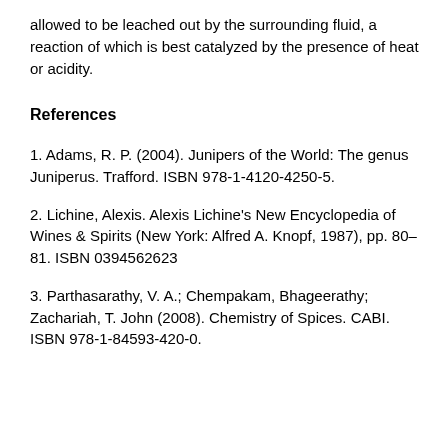allowed to be leached out by the surrounding fluid, a reaction of which is best catalyzed by the presence of heat or acidity.
References
1. Adams, R. P. (2004). Junipers of the World: The genus Juniperus. Trafford. ISBN 978-1-4120-4250-5.
2. Lichine, Alexis. Alexis Lichine's New Encyclopedia of Wines & Spirits (New York: Alfred A. Knopf, 1987), pp. 80–81. ISBN 0394562623
3. Parthasarathy, V. A.; Chempakam, Bhageerathy; Zachariah, T. John (2008). Chemistry of Spices. CABI. ISBN 978-1-84593-420-0.